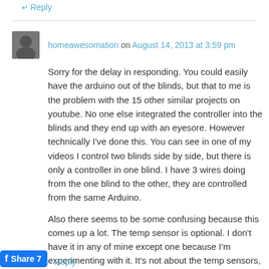↵ Reply
homeawesomation on August 14, 2013 at 3:59 pm
Sorry for the delay in responding. You could easily have the arduino out of the blinds, but that to me is the problem with the 15 other similar projects on youtube. No one else integrated the controller into the blinds and they end up with an eyesore. However technically I've done this. You can see in one of my videos I control two blinds side by side, but there is only a controller in one blind. I have 3 wires doing from the one blind to the other, they are controlled from the same Arduino.
Also there seems to be some confusing because this comes up a lot. The temp sensor is optional. I don't have it in any of mine except one because I'm experimenting with it. It's not about the temp sensors, it's about the light sensor. Also the code if very simple so you can customize it for your own perference/season/climate/etc.
↵ Reply